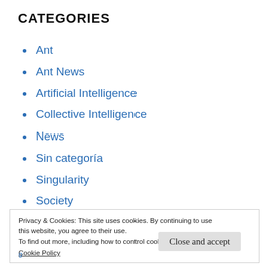CATEGORIES
Ant
Ant News
Artificial Intelligence
Collective Intelligence
News
Sin categoría
Singularity
Society
Privacy & Cookies: This site uses cookies. By continuing to use this website, you agree to their use.
To find out more, including how to control cookies, see here:
Cookie Policy
Close and accept